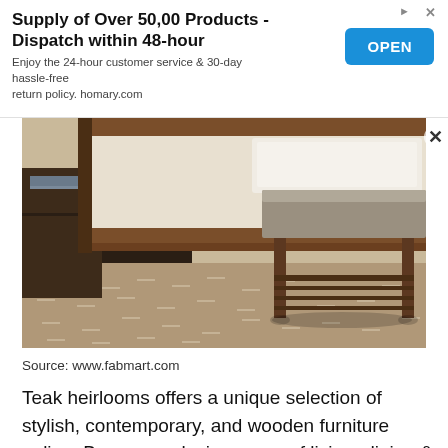Supply of Over 50,00 Products - Dispatch within 48-hour
Enjoy the 24-hour customer service & 30-day hassle-free return policy. homary.com
[Figure (photo): Bedroom scene showing the foot of a wooden bed with patterned carpet/rug on the floor and a wooden bench with upholstered seat at the foot of the bed. A nightstand is visible on the left.]
Source: www.fabmart.com
Teak heirlooms offers a unique selection of stylish, contemporary, and wooden furniture online. Browse exclusive range of living, dining & bedroom furniture